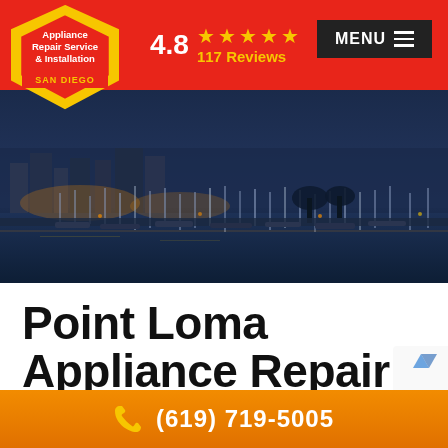Appliance Repair Service & Installation SAN DIEGO — 4.8 ★★★★★ 117 Reviews — MENU
[Figure (photo): Aerial/waterfront night photo of San Diego marina with boats and city lights]
Point Loma Appliance Repair
Point Loma Appliance Repair Services, San Diego County
(619) 719-5005